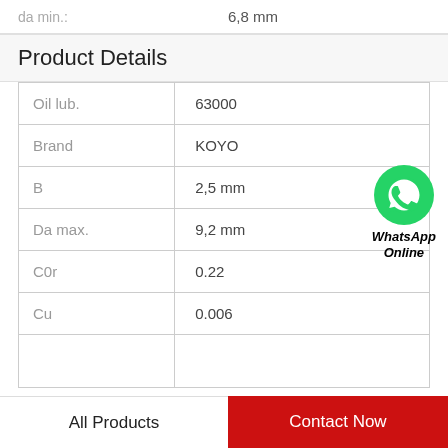da min.: 6,8 mm
Product Details
|  |  |
| --- | --- |
| Oil lub. | 63000 |
| Brand | KOYO |
| B | 2,5 mm |
| Da max. | 9,2 mm |
| C0r | 0.22 |
| Cu | 0.006 |
[Figure (logo): WhatsApp green icon with phone symbol, with text 'WhatsApp Online' in bold italic below]
All Products
Contact Now